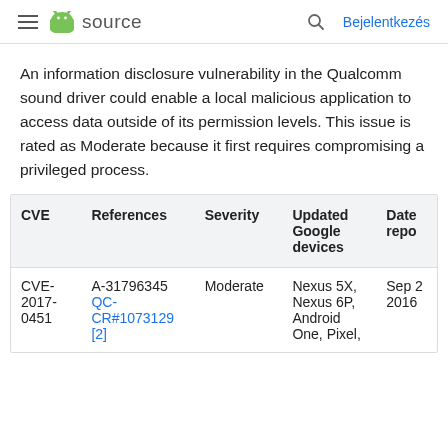≡  source   🔍  Bejelentkezés
An information disclosure vulnerability in the Qualcomm sound driver could enable a local malicious application to access data outside of its permission levels. This issue is rated as Moderate because it first requires compromising a privileged process.
| CVE | References | Severity | Updated Google devices | Date repo |
| --- | --- | --- | --- | --- |
| CVE-2017-0451 | A-31796345 QC-CR#1073129 [2] | Moderate | Nexus 5X, Nexus 6P, Android One, Pixel, | Sep 2 2016 |